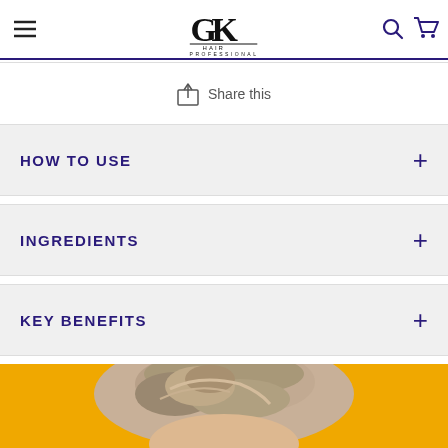GK Hair Professional — navigation header with hamburger menu, logo, search and cart icons
Share this
HOW TO USE
INGREDIENTS
KEY BENEFITS
[Figure (photo): Close-up top view of a person with blonde/light hair styled in an updo bun, against a bright yellow/golden background]